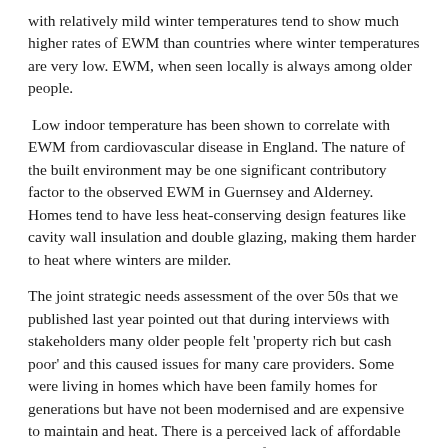with relatively mild winter temperatures tend to show much higher rates of EWM than countries where winter temperatures are very low. EWM, when seen locally is always among older people.
Low indoor temperature has been shown to correlate with EWM from cardiovascular disease in England. The nature of the built environment may be one significant contributory factor to the observed EWM in Guernsey and Alderney. Homes tend to have less heat-conserving design features like cavity wall insulation and double glazing, making them harder to heat where winters are milder.
The joint strategic needs assessment of the over 50s that we published last year pointed out that during interviews with stakeholders many older people felt 'property rich but cash poor' and this caused issues for many care providers. Some were living in homes which have been family homes for generations but have not been modernised and are expensive to maintain and heat. There is a perceived lack of affordable options to down size to, or methods of releasing equity but maintaining ownership and life enjoyment. The impact on finances is significant and can affect the ability of people